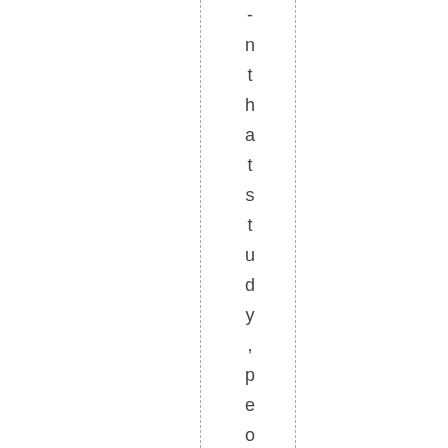n t h a t s t u d y , p e o p l e w e r e a s k e